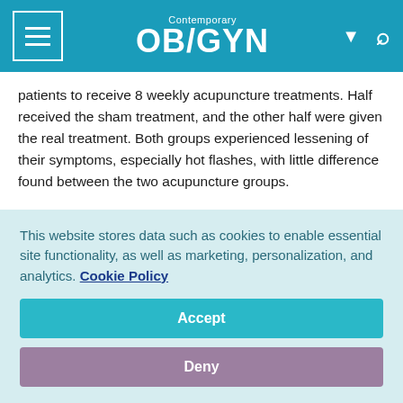Contemporary OB/GYN
patients to receive 8 weekly acupuncture treatments. Half received the sham treatment, and the other half were given the real treatment. Both groups experienced lessening of their symptoms, especially hot flashes, with little difference found between the two acupuncture groups.
Compared with baseline, scores in the real acupuncture arm improved significantly at week 8 on the Center for Epidemiological Studies Depression scale (P=0.022), hot
This website stores data such as cookies to enable essential site functionality, as well as marketing, personalization, and analytics. Cookie Policy
Accept
Deny